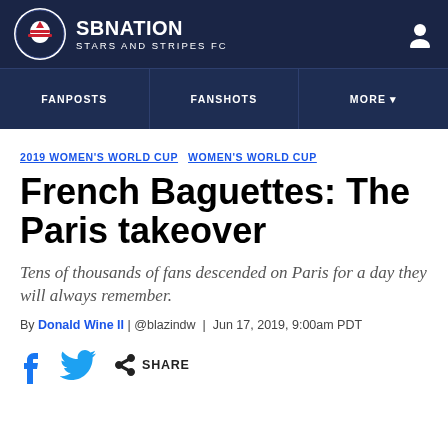SB NATION / STARS AND STRIPES FC
FANPOSTS | FANSHOTS | MORE
2019 WOMEN'S WORLD CUP  WOMEN'S WORLD CUP
French Baguettes: The Paris takeover
Tens of thousands of fans descended on Paris for a day they will always remember.
By Donald Wine II | @blazindw | Jun 17, 2019, 9:00am PDT